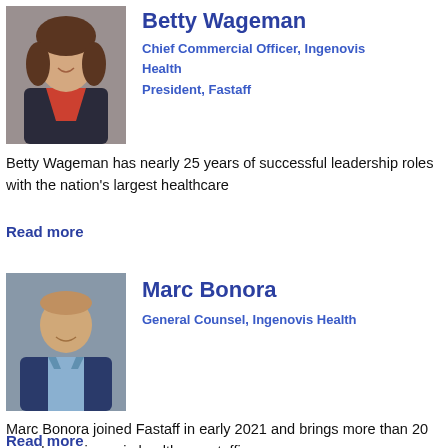[Figure (photo): Photo of Betty Wageman, a woman with long brown hair wearing a red top and dark blazer, arms crossed, smiling]
Betty Wageman
Chief Commercial Officer, Ingenovis Health
President, Fastaff
Betty Wageman has nearly 25 years of successful leadership roles with the nation's largest healthcare
Read more
[Figure (photo): Photo of Marc Bonora, a bald man in a blue blazer and light blue shirt, smiling]
Marc Bonora
General Counsel, Ingenovis Health
Marc Bonora joined Fastaff in early 2021 and brings more than 20 years' experience in healthcare staffing
Read more